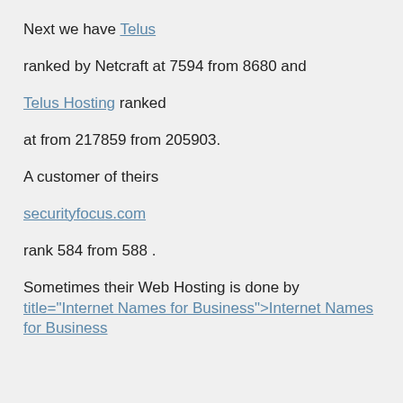Next we have Telus
ranked by Netcraft at 7594 from 8680 and
Telus Hosting ranked
at from 217859 from 205903.
A customer of theirs
securityfocus.com
rank 584 from 588 .
Sometimes their Web Hosting is done by title="Internet Names for Business">Internet Names for Business